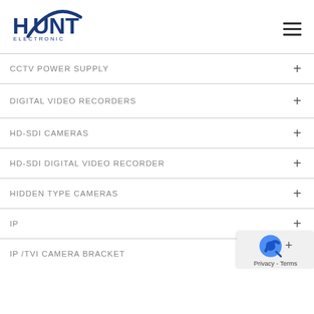[Figure (logo): Hunt Electronic logo with blue circular arc and block letters HUNT above ELECTRONIC]
CCTV POWER SUPPLY
DIGITAL VIDEO RECORDERS
HD-SDI CAMERAS
HD-SDI DIGITAL VIDEO RECORDER
HIDDEN TYPE CAMERAS
IP
IP /TVI CAMERA BRACKET